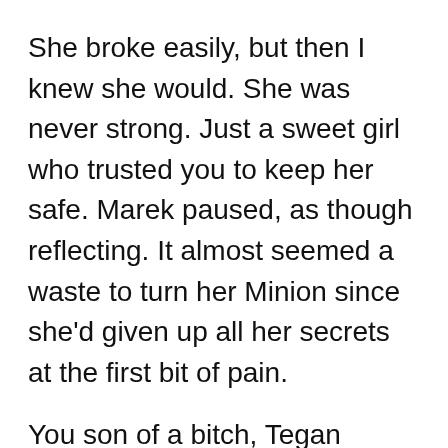She broke easily, but then I knew she would. She was never strong. Just a sweet girl who trusted you to keep her safe. Marek paused, as though reflecting. It almost seemed a waste to turn her Minion since she'd given up all her secrets at the first bit of pain.
You son of a bitch, Tegan snarled. You sick, goddamn son of a bitch! Why, then? Why did you do it to her?
Because I could, Marek replied.
Tegan's roar echoed up into the rafters of the place, rattling the black-washed windows that